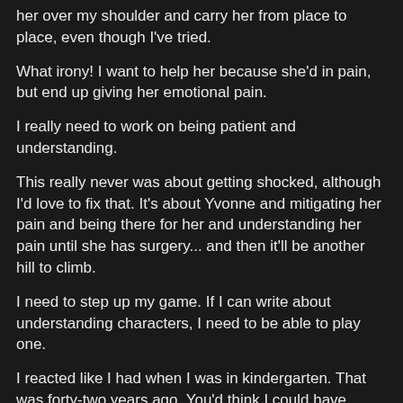her over my shoulder and carry her from place to place, even though I've tried.
What irony! I want to help her because she'd in pain, but end up giving her emotional pain.
I really need to work on being patient and understanding.
This really never was about getting shocked, although I'd love to fix that. It's about Yvonne and mitigating her pain and being there for her and understanding her pain until she has surgery... and then it'll be another hill to climb.
I need to step up my game. If I can write about understanding characters, I need to be able to play one.
I reacted like I had when I was in kindergarten. That was forty-two years ago. You'd think I could have learned something in the intervening years.
This isn't about me. It's about my wife and she needs me.